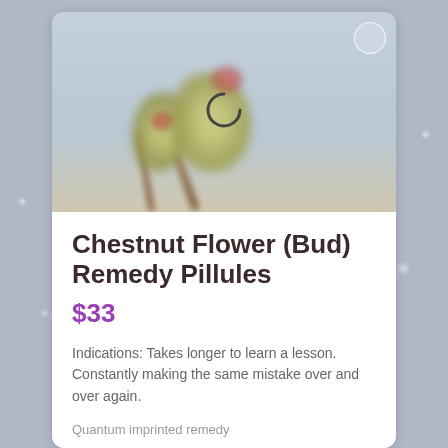[Figure (photo): Blurred close-up photo of chestnut flower buds on a branch against a light blue-grey background, with a loading spinner overlay in the center]
Chestnut Flower (Bud) Remedy Pillules
$33
Indications: Takes longer to learn a lesson. Constantly making the same mistake over and over again.
Quantum imprinted remedy